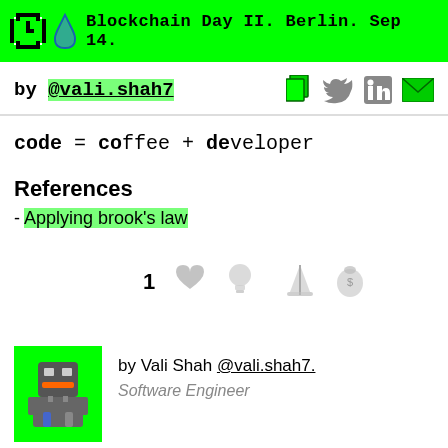Blockchain Day II. Berlin. Sep 14.
by @vali.shah7
code = coffee + developer
References
- Applying brook's law
[Figure (other): Reaction icons: 1 heart, lightbulb, sailboat, money bag]
[Figure (illustration): Pixel art avatar of a robot/character in green background]
by Vali Shah @vali.shah7. Software Engineer